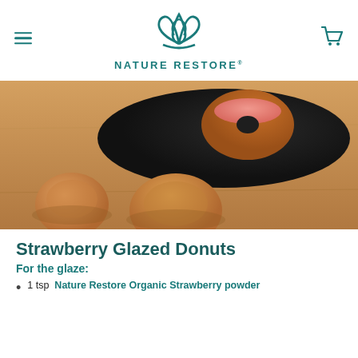[Figure (logo): Nature Restore logo: teal lotus/leaf emblem above the text NATURE RESTORE with registered trademark symbol]
[Figure (photo): Close-up food photo of glazed donut holes in the foreground on a wooden surface, with a frosted donut on a black plate in the background]
Strawberry Glazed Donuts
For the glaze:
1 tsp  Nature Restore Organic Strawberry powder